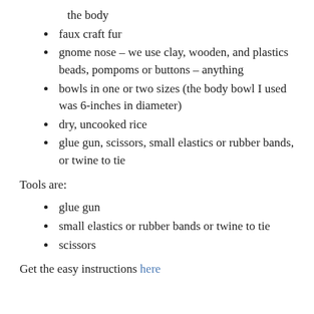the body
faux craft fur
gnome nose – we use clay, wooden, and plastics beads, pompoms or buttons – anything
bowls in one or two sizes (the body bowl I used was 6-inches in diameter)
dry, uncooked rice
glue gun, scissors, small elastics or rubber bands, or twine to tie
Tools are:
glue gun
small elastics or rubber bands or twine to tie
scissors
Get the easy instructions here